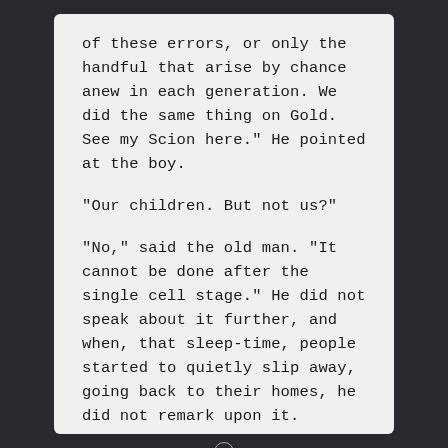of these errors, or only the handful that arise by chance anew in each generation. We did the same thing on Gold. See my Scion here." He pointed at the boy.
"Our children. But not us?"
"No," said the old man. "It cannot be done after the single cell stage." He did not speak about it further, and when, that sleep-time, people started to quietly slip away, going back to their homes, he did not remark upon it.
[Figure (other): Page navigation indicator: a horizontal line with three circles (two small, one large in the center) centered on the line]